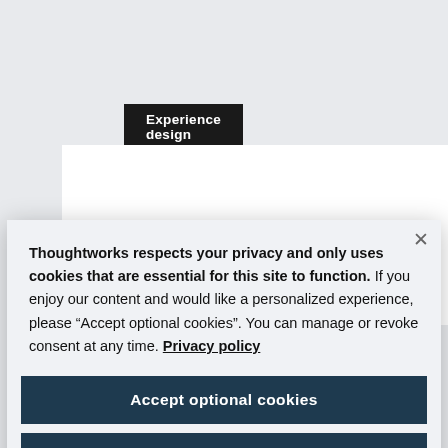Experience design
Faster, better, stronger: Building a high
Thoughtworks respects your privacy and only uses cookies that are essential for this site to function. If you enjoy our content and would like a personalized experience, please “Accept optional cookies”. You can manage or revoke consent at any time. Privacy policy
Accept optional cookies
Manage preferences